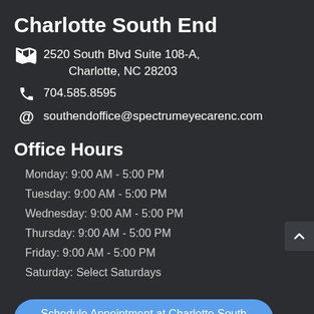Charlotte South End
2520 South Blvd Suite 108-A, Charlotte, NC 28203
704.585.8595
southendoffice@spectrumeyecarenc.com
Office Hours
Monday: 9:00 AM - 5:00 PM
Tuesday: 9:00 AM - 5:00 PM
Wednesday: 9:00 AM - 5:00 PM
Thursday: 9:00 AM - 5:00 PM
Friday: 9:00 AM - 5:00 PM
Saturday: Select Saturdays
Schedule Appointment at Charlotte South End